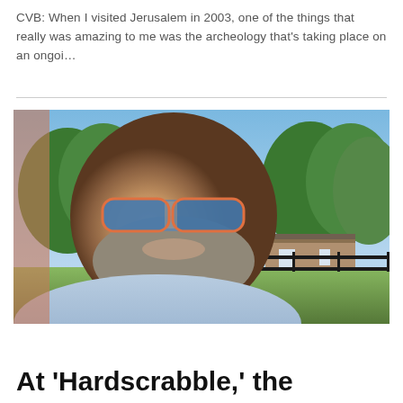CVB: When I visited Jerusalem in 2003, one of the things that really was amazing to me was the archeology that's taking place on an ongoi…
[Figure (photo): Selfie of a bearded middle-aged man wearing blue-tinted sunglasses, smiling, with trees, a log building, and a black fence visible in the background on a sunny day.]
At 'Hardscrabble,' the